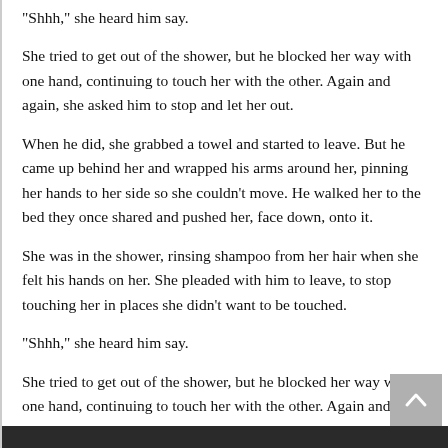"Shhh," she heard him say.
She tried to get out of the shower, but he blocked her way with one hand, continuing to touch her with the other. Again and again, she asked him to stop and let her out.
When he did, she grabbed a towel and started to leave. But he came up behind her and wrapped his arms around her, pinning her hands to her side so she couldn't move. He walked her to the bed they once shared and pushed her, face down, onto it.
She was in the shower, rinsing shampoo from her hair when she felt his hands on her. She pleaded with him to leave, to stop touching her in places she didn't want to be touched.
"Shhh," she heard him say.
She tried to get out of the shower, but he blocked her way with one hand, continuing to touch her with the other. Again and again, she asked him to stop and let her out.